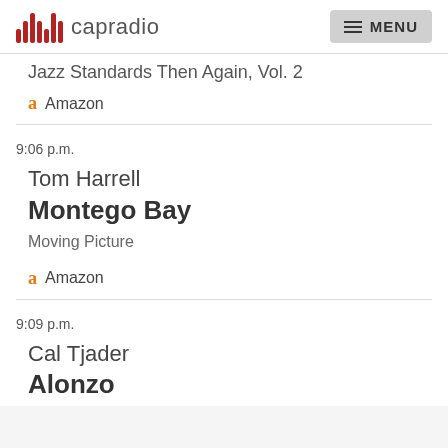capradio  MENU
Jazz Standards Then Again, Vol. 2
a Amazon
9:06 p.m.
Tom Harrell
Montego Bay
Moving Picture
a Amazon
9:09 p.m.
Cal Tjader
Alonzo